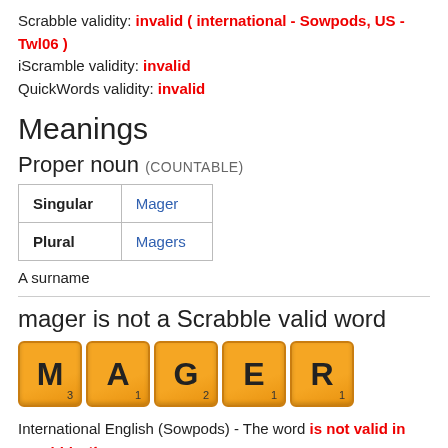Scrabble validity: invalid ( international - Sowpods, US - Twl06 )
iScramble validity: invalid
QuickWords validity: invalid
Meanings
Proper noun (COUNTABLE)
|  |  |
| --- | --- |
| Singular | Mager |
| Plural | Magers |
A surname
mager is not a Scrabble valid word
[Figure (illustration): Scrabble tiles spelling MAGER: M3, A1, G2, E1, R1 in orange tile style]
International English (Sowpods) - The word is not valid in Scrabble ✗
US English (TWL06) - The word is not valid in Scrabble ✗